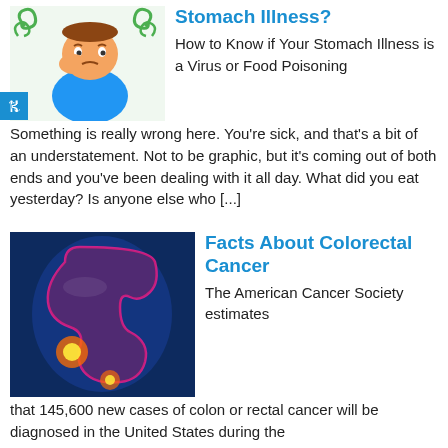[Figure (illustration): Cartoon person looking sick, with green swirl decorations, thinking/worried expression]
Stomach Illness?
How to Know if Your Stomach Illness is a Virus or Food Poisoning Something is really wrong here. You're sick, and that's a bit of an understatement. Not to be graphic, but it's coming out of both ends and you've been dealing with it all day. What did you eat yesterday? Is anyone else who [...]
[Figure (illustration): Medical illustration of human torso showing colorectal/colon anatomy with highlighted cancer areas in pink/red against blue background]
Facts About Colorectal Cancer
The American Cancer Society estimates that 145,600 new cases of colon or rectal cancer will be diagnosed in the United States during the